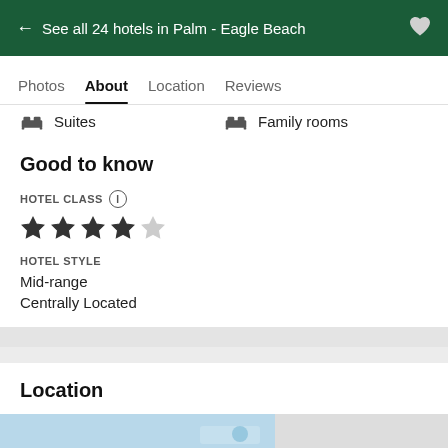← See all 24 hotels in Palm - Eagle Beach
Photos  About  Location  Reviews
Suites
Family rooms
Good to know
HOTEL CLASS
★★★★☆ (4 stars)
HOTEL STYLE
Mid-range
Centrally Located
Location